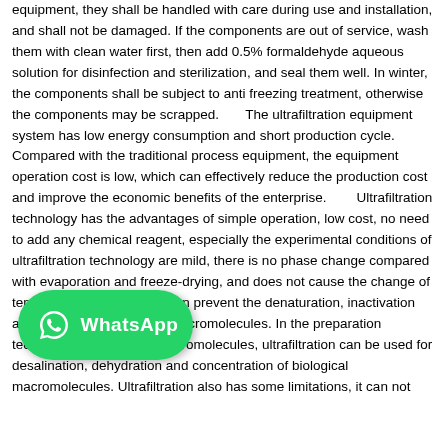equipment, they shall be handled with care during use and installation, and shall not be damaged. If the components are out of service, wash them with clean water first, then add 0.5% formaldehyde aqueous solution for disinfection and sterilization, and seal them well. In winter, the components shall be subject to anti freezing treatment, otherwise the components may be scrapped.       The ultrafiltration equipment system has low energy consumption and short production cycle. Compared with the traditional process equipment, the equipment operation cost is low, which can effectively reduce the production cost and improve the economic benefits of the enterprise.         Ultrafiltration technology has the advantages of simple operation, low cost, no need to add any chemical reagent, especially the experimental conditions of ultrafiltration technology are mild, there is no phase change compared with evaporation and freeze-drying, and does not cause the change of temperature and pH, so it can prevent the denaturation, inactivation and autolysis of biological macromolecules. In the preparation technology of biological macromolecules, ultrafiltration can be used for desalination, dehydration and concentration of biological macromolecules. Ultrafiltration also has some limitations, it can not
[Figure (logo): WhatsApp logo button — green rounded rectangle with WhatsApp icon and text 'WhatsApp']